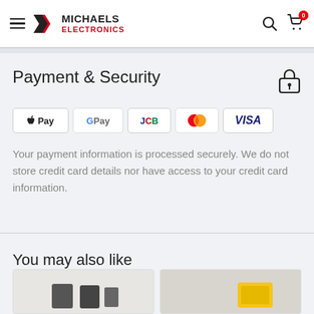Michaels Electronics — navigation header with hamburger menu, logo, search and cart icons
Payment & Security
[Figure (other): Payment method icons: Apple Pay, Google Pay, JCB, Mastercard, Visa]
Your payment information is processed securely. We do not store credit card details nor have access to your credit card information.
You may also like
[Figure (photo): Partially visible product image cards in a horizontal row]